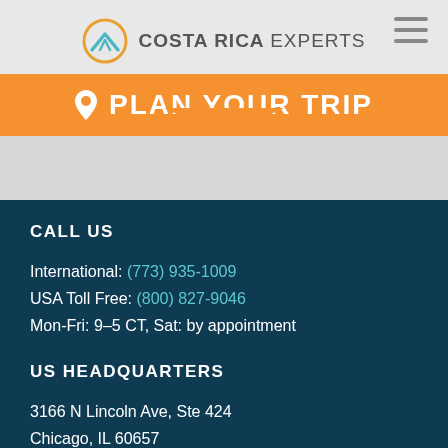[Figure (logo): Costa Rica Experts logo with mountain/circle icon]
PLAN YOUR TRIP
CALL US
International: (773) 935-1009
USA Toll Free: (800) 827-9046
Mon-Fri: 9–5 CT, Sat: by appointment
US HEADQUARTERS
3166 N Lincoln Ave, Ste 424
Chicago, IL 60657